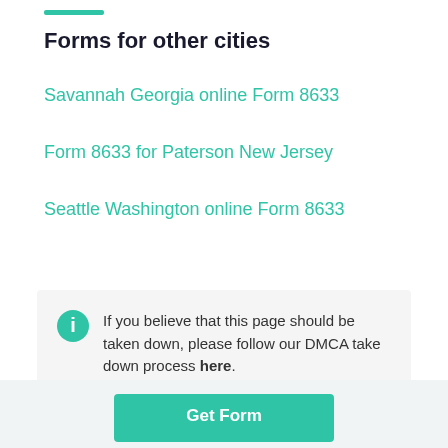Forms for other cities
Savannah Georgia online Form 8633
Form 8633 for Paterson New Jersey
Seattle Washington online Form 8633
If you believe that this page should be taken down, please follow our DMCA take down process here.
Get Form